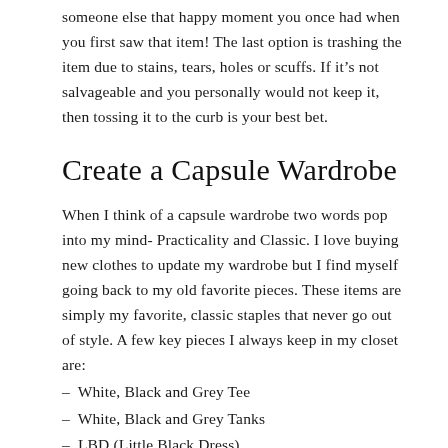someone else that happy moment you once had when you first saw that item! The last option is trashing the item due to stains, tears, holes or scuffs. If it's not salvageable and you personally would not keep it, then tossing it to the curb is your best bet.
Create a Capsule Wardrobe
When I think of a capsule wardrobe two words pop into my mind- Practicality and Classic. I love buying new clothes to update my wardrobe but I find myself going back to my old favorite pieces. These items are simply my favorite, classic staples that never go out of style. A few key pieces I always keep in my closet are:
– White, Black and Grey Tee
– White, Black and Grey Tanks
– LBD (Little Black Dress)
– White blouse